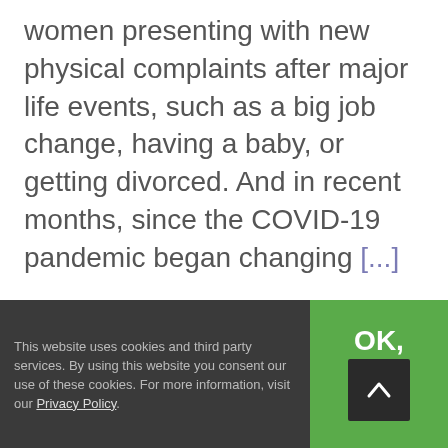women presenting with new physical complaints after major life events, such as a big job change, having a baby, or getting divorced. And in recent months, since the COVID-19 pandemic began changing [...]
By Marcelle Pick, OB/GYN, NP
Read More >
This website uses cookies and third party services. By using this website you consent our use of these cookies. For more information, visit our Privacy Policy.